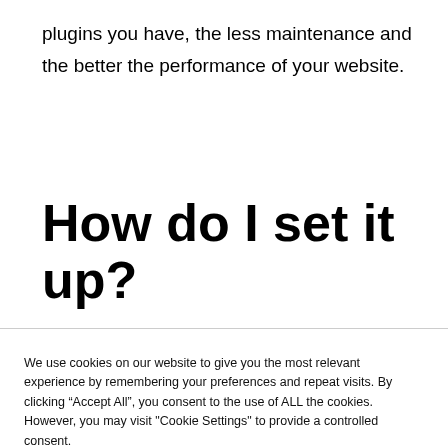plugins you have, the less maintenance and the better the performance of your website.
How do I set it up?
We use cookies on our website to give you the most relevant experience by remembering your preferences and repeat visits. By clicking “Accept All”, you consent to the use of ALL the cookies. However, you may visit "Cookie Settings" to provide a controlled consent.